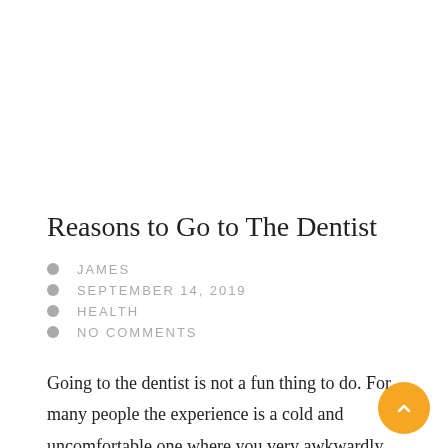Reasons to Go to The Dentist
JAMES
SEPTEMBER 14, 2019
HEALTH
NO COMMENTS
Going to the dentist is not a fun thing to do. For many people the experience is a cold and uncomfortable one where you very awkwardly have to look at